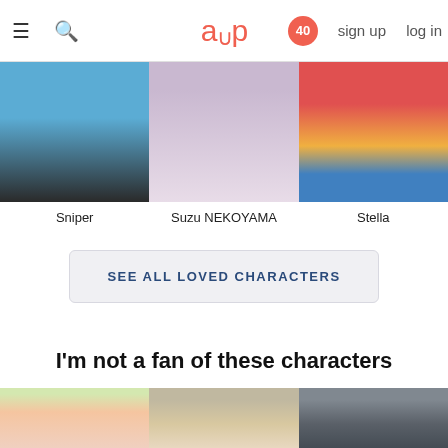≡ 🔍  aup  40  sign up  log in
[Figure (photo): Anime character thumbnail: Sniper]
Sniper
[Figure (photo): Anime character thumbnail: Suzu NEKOYAMA]
Suzu NEKOYAMA
[Figure (photo): Anime character thumbnail: Stella]
Stella
SEE ALL LOVED CHARACTERS
I'm not a fan of these characters
[Figure (photo): Anime girl character thumbnail]
[Figure (photo): Anime boy character thumbnail]
[Figure (photo): Anime military officer character thumbnail]